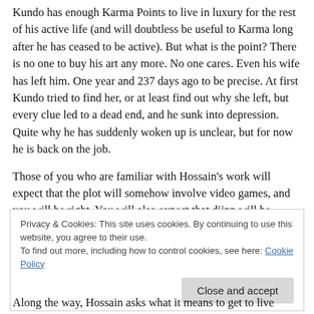Kundo has enough Karma Points to live in luxury for the rest of his active life (and will doubtless be useful to Karma long after he has ceased to be active). But what is the point? There is no one to buy his art any more. No one cares. Even his wife has left him. One year and 237 days ago to be precise. At first Kundo tried to find her, or at least find out why she left, but every clue led to a dead end, and he sunk into depression. Quite why he has suddenly woken up is unclear, but for now he is back on the job.
Those of you who are familiar with Hossain's work will expect that the plot will somehow involve video games, and you will be right. You will also expect that djinn will be
Privacy & Cookies: This site uses cookies. By continuing to use this website, you agree to their use.
To find out more, including how to control cookies, see here: Cookie Policy
Close and accept
Along the way, Hossain asks what it means to get to live